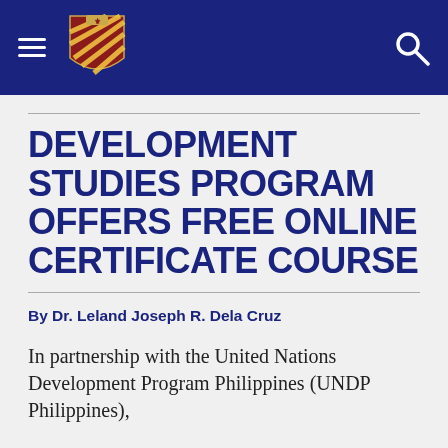[Navigation bar with hamburger menu, university shield logo, and search icon]
DEVELOPMENT STUDIES PROGRAM OFFERS FREE ONLINE CERTIFICATE COURSE
By Dr. Leland Joseph R. Dela Cruz
In partnership with the United Nations Development Program Philippines (UNDP Philippines),